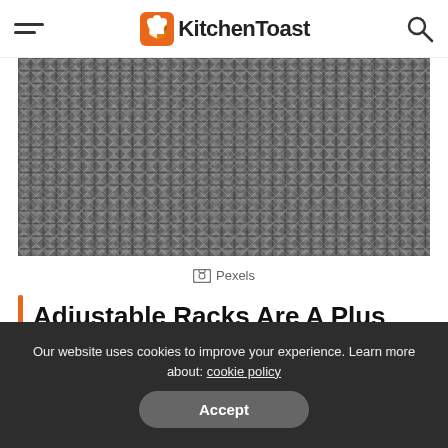KitchenToast
[Figure (photo): Close-up black and white photo of metal wire mesh / dish rack grid pattern]
Pexels
Adjustable Racks Are A Plus
When you have adjustable racks, you can easily customize the entire interior of the dishwasher so it is suitable for different cookware, pans, and pots.
Our website uses cookies to improve your experience. Learn more about: cookie policy  Accept